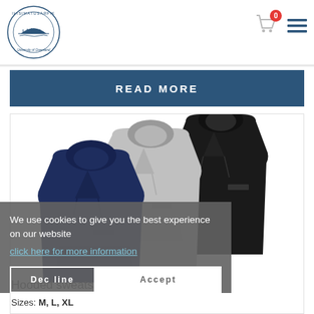[Figure (logo): Ilisimatusarfik University of Greenland circular logo with ship illustration]
[Figure (infographic): Shopping cart icon with red badge showing '0' and hamburger menu icon]
READ MORE
[Figure (photo): Three hooded sweatshirts in navy, grey, and black colors displayed overlapping each other]
We use cookies to give you the best experience on our website
click here for more information
Decline
Accept
Hooded sweatshirt (male, black)
Sizes: M, L, XL